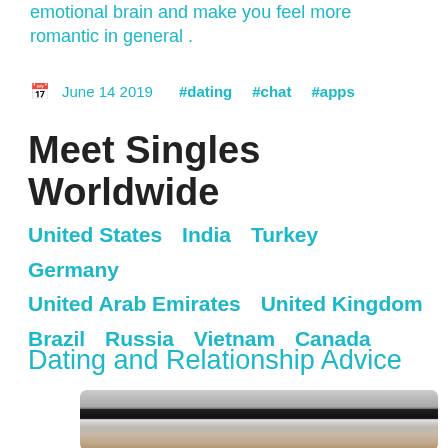emotional brain and make you feel more romantic in general .
June 14 2019   #dating   #chat   #apps
Meet Singles Worldwide
United States   India   Turkey   Germany   United Arab Emirates   United Kingdom   Brazil   Russia   Vietnam   Canada
Dating and Relationship Advice
[Figure (photo): Blurred close-up photo of hands on a laptop keyboard, visible at the bottom of the page.]